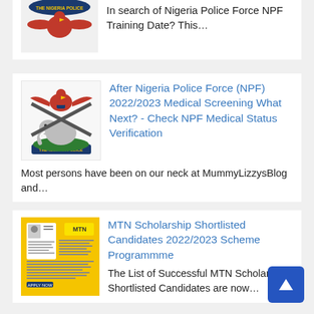[Figure (logo): Nigeria Police Force logo/badge (partial, top cropped)]
In search of Nigeria Police Force NPF Training Date? This…
[Figure (logo): Nigeria Police Force emblem with eagle, elephant, and banner reading THE NIGERIA POLICE]
After Nigeria Nigeria Police Force (NPF) 2022/2023 Medical Screening What Next? - Check NPF Medical Status Verification
Most persons have been on our neck at MummyLizzysBlog and…
[Figure (photo): Yellow MTN Scholarship document/flyer with text and candidate information]
MTN Scholarship Shortlisted Candidates 2022/2023 Scheme Programmme
The List of Successful MTN Scholarship Shortlisted Candidates are now…